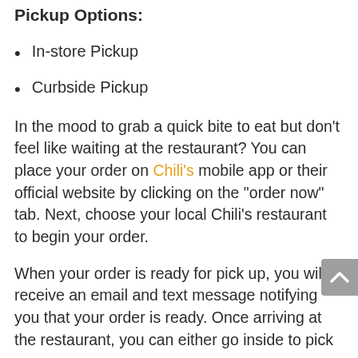Pickup Options:
In-store Pickup
Curbside Pickup
In the mood to grab a quick bite to eat but don't feel like waiting at the restaurant? You can place your order on Chili's mobile app or their official website by clicking on the “order now” tab. Next, choose your local Chili’s restaurant to begin your order.
When your order is ready for pick up, you will receive an email and text message notifying you that your order is ready. Once arriving at the restaurant, you can either go inside to pick up your